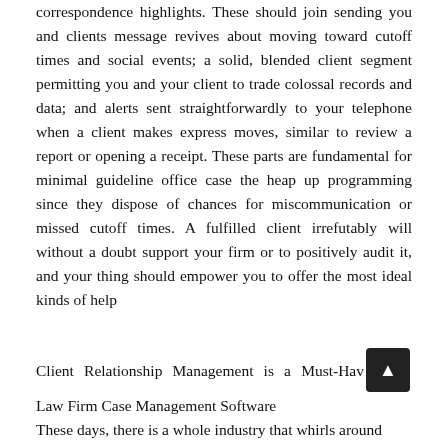correspondence highlights. These should join sending you and clients message revives about moving toward cutoff times and social events; a solid, blended client segment permitting you and your client to trade colossal records and data; and alerts sent straightforwardly to your telephone when a client makes express moves, similar to review a report or opening a receipt. These parts are fundamental for minimal guideline office case the heap up programming since they dispose of chances for miscommunication or missed cutoff times. A fulfilled client irrefutably will without a doubt support your firm or to positively audit it, and your thing should empower you to offer the most ideal kinds of help
Client Relationship Management is a Must-Have Law Firm Case Management Software
These days, there is a whole industry that whirls around